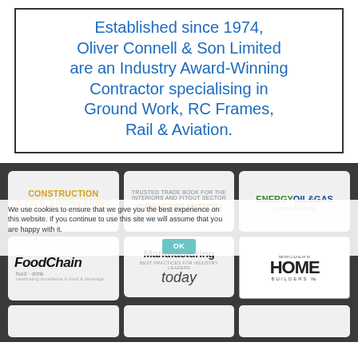Established since 1974, Oliver Connell & Son Limited are an Industry Award-Winning Contractor specialising in Ground Work, RC Frames, Rail & Aviation.
[Figure (logo): Grid of trade magazine logos: Construction & Civil Engineering, Construction (orange), Energy Oil & Gas, FoodChain, Manufacturing Today, Modern Home Builders, and partial bottom row logos]